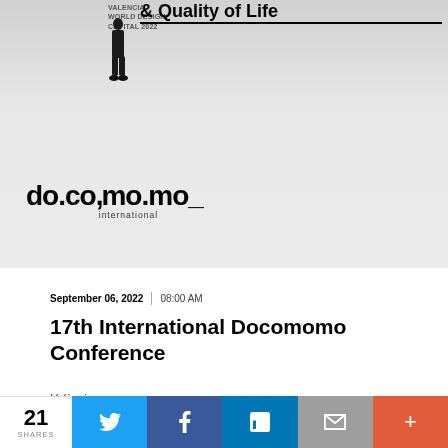[Figure (photo): Top portion of a promotional image for the 17th International Docomomo Conference. Shows a person standing in black clothing against a white background, with 'VALENCIA WORLD DESIGN CAPITAL 2022' text and '& Quality of Life' heading. The do.co.mo.mo_ international logo appears at the bottom of the image area.]
September 06, 2022  |  08:00 AM
17th International Docomomo Conference
València
21 SHARES